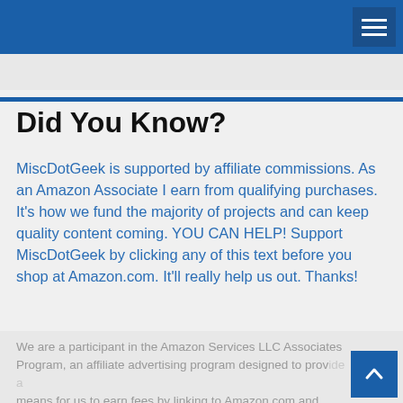Did You Know?
MiscDotGeek is supported by affiliate commissions. As an Amazon Associate I earn from qualifying purchases. It's how we fund the majority of projects and can keep quality content coming. YOU CAN HELP! Support MiscDotGeek by clicking any of this text before you shop at Amazon.com. It'll really help us out. Thanks!
We are a participant in the Amazon Services LLC Associates Program, an affiliate advertising program designed to provide a means for us to earn fees by linking to Amazon.com and affiliated sites.